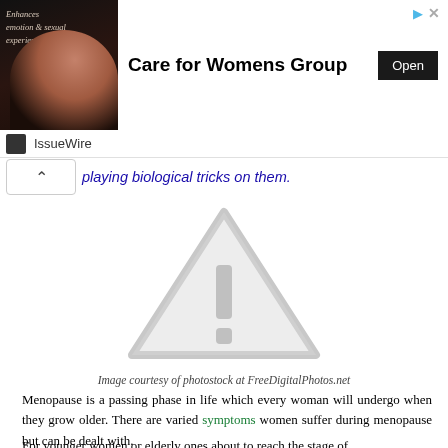[Figure (photo): Advertisement banner: woman's photo on left with cursive text overlay, 'Care for Womens Group' bold title in center, black 'Open' button on right, with arrow and close icons at top right.]
IssueWire
playing biological tricks on them.
[Figure (illustration): Gray triangular warning/placeholder image with exclamation mark icon in the center.]
Image courtesy of photostock at FreeDigitalPhotos.net
Menopause is a passing phase in life which every woman will undergo when they grow older. There are varied symptoms women suffer during menopause but can be dealt with.
For younger women or elderly ones about to reach the stage of